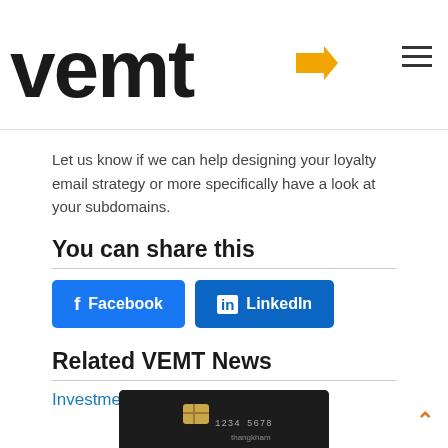vemt
Some clients go wild and add a subdomain for each department (ie. sales, finance etc.) also do that but emails are split among all domains so there are no benefits to reputation or your loyalty program can be achieved because of this.
Let us know if we can help designing your loyalty email strategy or more specifically have a look at your subdomains.
You can share this
Facebook | LinkedIn (share buttons)
Related VEMT News
Investments & Rewards
[Figure (photo): Credit card photo thumbnail]